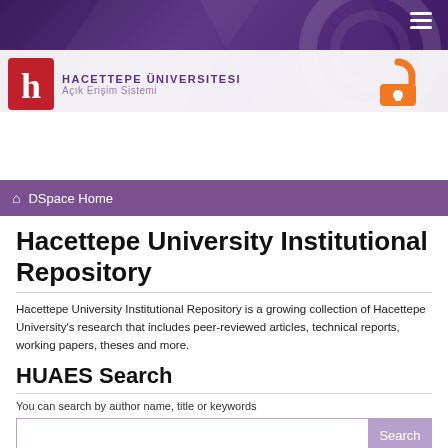[Figure (screenshot): Hacettepe University DSpace institutional repository website header with dark purple background, university logo (red H in square), university name in purple text, open access orange padlock logo, hamburger menu icon, and purple breadcrumb bar showing 'DSpace Home']
Hacettepe University Institutional Repository
Hacettepe University Institutional Repository is a growing collection of Hacettepe University's research that includes peer-reviewed articles, technical reports, working papers, theses and more.
HUAES Search
You can search by author name, title or keywords